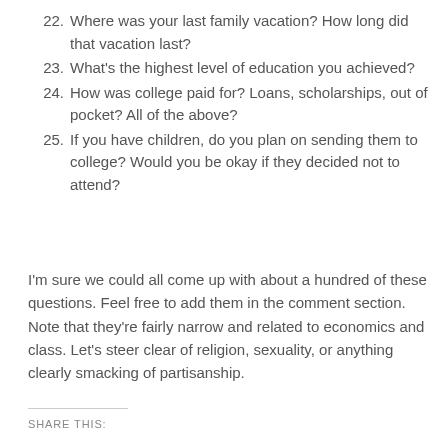22. Where was your last family vacation? How long did that vacation last?
23. What's the highest level of education you achieved?
24. How was college paid for? Loans, scholarships, out of pocket? All of the above?
25. If you have children, do you plan on sending them to college? Would you be okay if they decided not to attend?
I'm sure we could all come up with about a hundred of these questions. Feel free to add them in the comment section. Note that they're fairly narrow and related to economics and class. Let's steer clear of religion, sexuality, or anything clearly smacking of partisanship.
SHARE THIS: